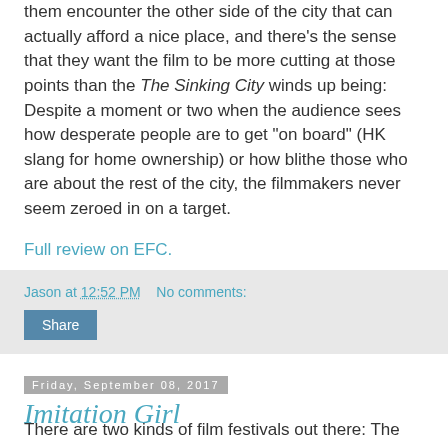them encounter the other side of the city that can actually afford a nice place, and there's the sense that they want the film to be more cutting at those points than the The Sinking City winds up being: Despite a moment or two when the audience sees how desperate people are to get "on board" (HK slang for home ownership) or how blithe those who are about the rest of the city, the filmmakers never seem zeroed in on a target.
Full review on EFC.
Jason at 12:52 PM   No comments:
Share
Friday, September 08, 2017
Imitation Girl
There are two kinds of film festivals out there: The ones that are entirely about their main event and the ones that are so